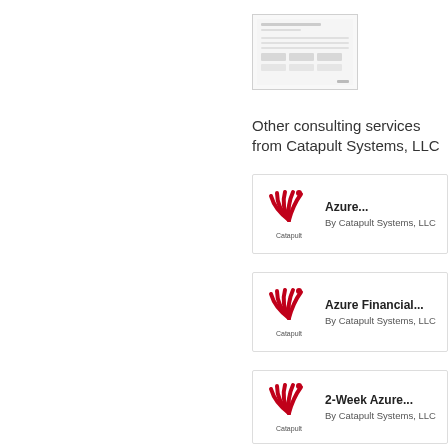[Figure (screenshot): Small thumbnail of a document page showing a table or report]
Other consulting services from Catapult Systems, LLC
[Figure (logo): Catapult Systems LLC logo with red fan/wing design and text 'Catapult' below - card for Azure...]
Azure...
By Catapult Systems, LLC
[Figure (logo): Catapult Systems LLC logo with red fan/wing design and text 'Catapult' below - card for Azure Financial...]
Azure Financial...
By Catapult Systems, LLC
[Figure (logo): Catapult Systems LLC logo with red fan/wing design and text 'Catapult' below - card for 2-Week Azure...]
2-Week Azure...
By Catapult Systems, LLC